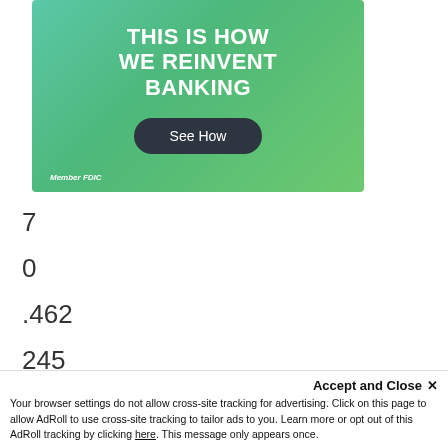[Figure (infographic): Green gradient banner advertisement reading 'THIS IS HOW WE REINVENT BANKING' with a 'See How' button and 'Member FDIC' text at the bottom left.]
7
0
.462
245
306
Accept and Close ×
Your browser settings do not allow cross-site tracking for advertising. Click on this page to allow AdRoll to use cross-site tracking to tailor ads to you. Learn more or opt out of this AdRoll tracking by clicking here. This message only appears once.